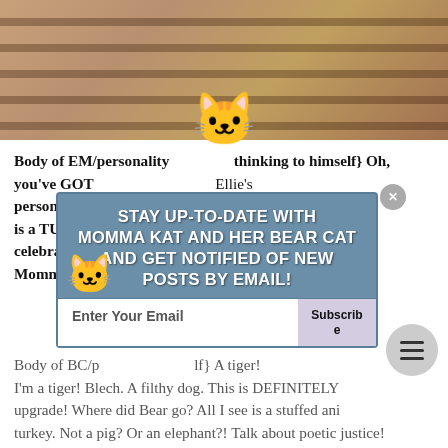[Figure (photo): Close-up photo of a striped/tabby cat lying on a sandy surface, showing the body and fur with orange, brown and black stripes]
Body of EM/personality {thinking to himself} Oh, you've GOT ... Ellie's personality t... I could get is a TURKEY ... imal celebrated by ... once a year. Momma has ... it.
[Figure (infographic): Email subscription popup overlay with blue background reading: STAY UP-TO-DATE WITH MOMMA KAT AND HER BEAR CAT AND GET NOTIFIED OF NEW POSTS BY EMAIL! With an email input field and Subscribe button. Cat emoji icons decorate the popup.]
Body of BC/p... {talking to himself} A tiger! I'm a tiger! Blech. A filthy dog. This is DEFINITELY ... upgrade! Where did Bear go? All I see is a stuffed ani... turkey. Not a pig? Or an elephant?! Talk about poetic justice! BEAR! Holy tiger's tail! I can't make a sound! I'm trapped in here! Now if it happened to Bear, the world would rejoice. That